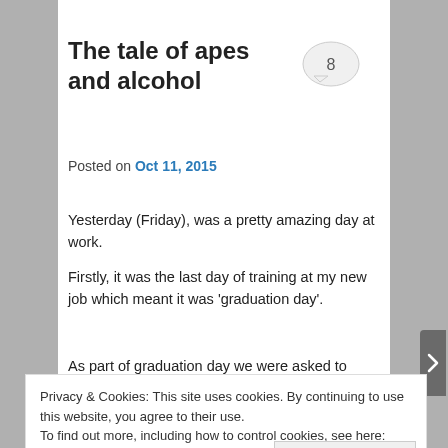The tale of apes and alcohol
Posted on Oct 11, 2015
Yesterday (Friday), was a pretty amazing day at work.
Firstly, it was the last day of training at my new job which meant it was ‘graduation day’.
As part of graduation day we were asked to collectively choose a theme. As there were almost 60 of us, we all
Privacy & Cookies: This site uses cookies. By continuing to use this website, you agree to their use.
To find out more, including how to control cookies, see here: Cookie Policy
Advertisements